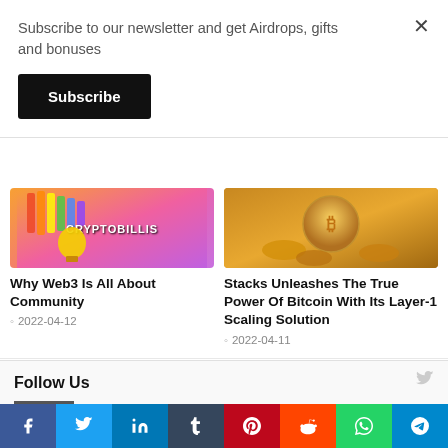Subscribe to our newsletter and get Airdrops, gifts and bonuses
Subscribe
[Figure (screenshot): Cryptobillis colorful game art banner with hot air balloon and CRYPTOBILLIS logo text]
Why Web3 Is All About Community
2022-04-12
[Figure (photo): Golden Bitcoin coins stacked on surface, warm golden lighting]
Stacks Unleashes The True Power Of Bitcoin With Its Layer-1 Scaling Solution
2022-04-11
Follow Us
Social sharing bar: Facebook, Twitter, LinkedIn, Tumblr, Pinterest, Reddit, WhatsApp, Telegram